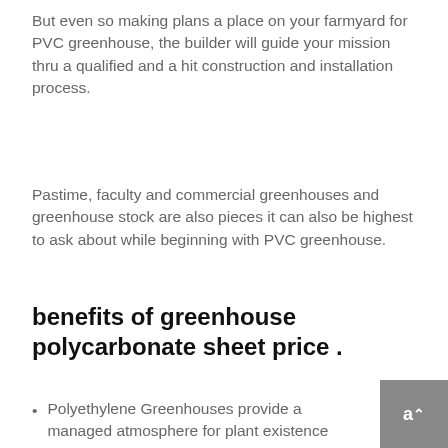But even so making plans a place on your farmyard for PVC greenhouse, the builder will guide your mission thru a qualified and a hit construction and installation process.
Pastime, faculty and commercial greenhouses and greenhouse stock are also pieces it can also be highest to ask about while beginning with PVC greenhouse.
benefits of greenhouse polycarbonate sheet price .
Polyethylene Greenhouses provide a managed atmosphere for plant existence via the typical use of